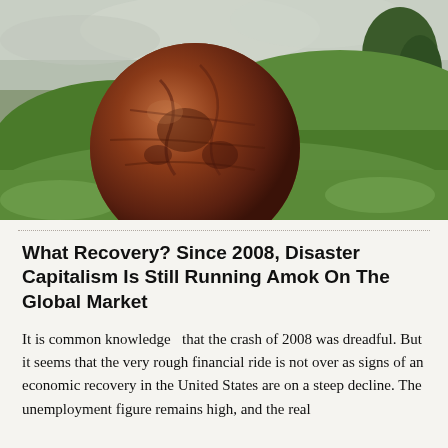[Figure (photo): A large rusted iron sphere (resembling a globe) resting on green grassy hillside with trees in the background under an overcast sky.]
What Recovery? Since 2008, Disaster Capitalism Is Still Running Amok On The Global Market
It is common knowledge  that the crash of 2008 was dreadful. But it seems that the very rough financial ride is not over as signs of an economic recovery in the United States are on a steep decline. The unemployment figure remains high, and the real estate market was not for everyone to get in